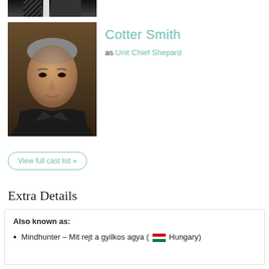[Figure (photo): Partial top photo of a man in a suit and tie, cropped at the top of the page]
[Figure (photo): Portrait photo of Cotter Smith, a middle-aged man with grey hair wearing a dark suit and black tie, looking directly at camera with a serious expression]
Cotter Smith
as Unit Chief Shepard
View full cast list »
Extra Details
Also known as:
Mindhunter – Mit rejt a gyilkos agya (🇭🇺 Hungary)